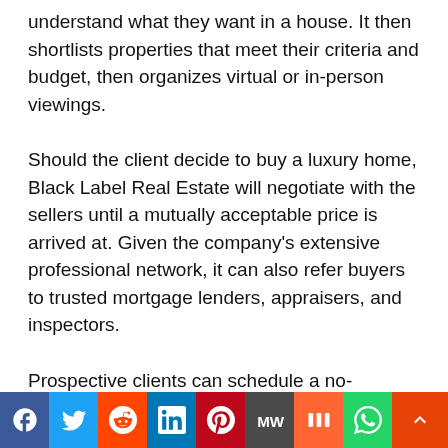understand what they want in a house. It then shortlists properties that meet their criteria and budget, then organizes virtual or in-person viewings.
Should the client decide to buy a luxury home, Black Label Real Estate will negotiate with the sellers until a mutually acceptable price is arrived at. Given the company's extensive professional network, it can also refer buyers to trusted mortgage lenders, appraisers, and inspectors.
Prospective clients can schedule a no-obligation consultation with the property agency. They